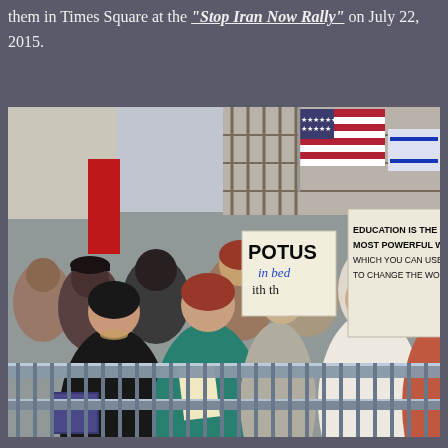them in Times Square at the "Stop Iran Now Rally" on July 22, 2015.
[Figure (photo): Crowd of protesters at Times Square rally holding signs including 'POTUS in bed with the...', 'EDUCATION IS THE MOST POWERFUL WEAPON WHICH YOU CAN USE TO CHANGE THE WORLD', and 'WHERE'S CHUCKY?'. American and Israeli flags visible in background.]
Knowing that Iran is eager to annihilate Israel (with the United States and the rest of the world's Infidels thrown in for 'good' measure) Obama and Kerry continue